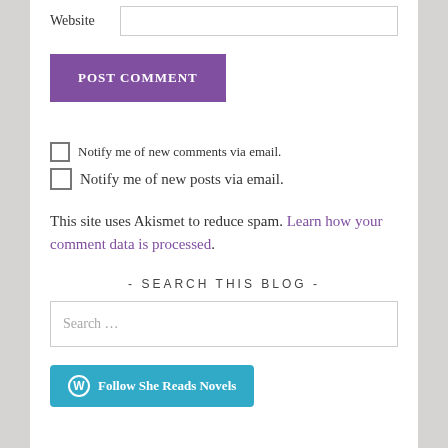Website [input field]
POST COMMENT
Notify me of new comments via email.
Notify me of new posts via email.
This site uses Akismet to reduce spam. Learn how your comment data is processed.
- SEARCH THIS BLOG -
Search ...
Follow She Reads Novels